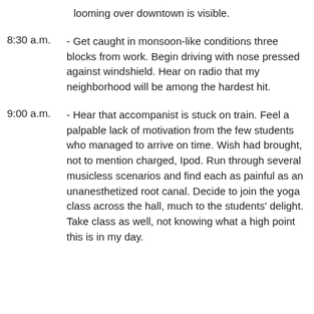looming over downtown is visible.
8:30 a.m. - Get caught in monsoon-like conditions three blocks from work. Begin driving with nose pressed against windshield. Hear on radio that my neighborhood will be among the hardest hit.
9:00 a.m. - Hear that accompanist is stuck on train. Feel a palpable lack of motivation from the few students who managed to arrive on time. Wish had brought, not to mention charged, Ipod. Run through several musicless scenarios and find each as painful as an unanesthetized root canal. Decide to join the yoga class across the hall, much to the students' delight. Take class as well, not knowing what a high point this is in my day.